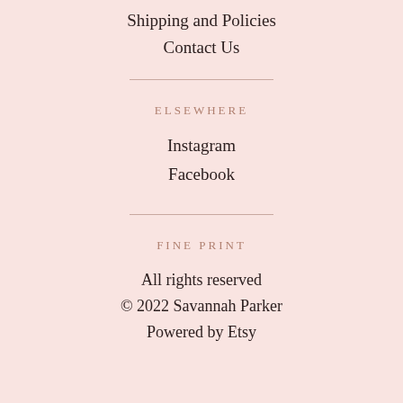Shipping and Policies
Contact Us
ELSEWHERE
Instagram
Facebook
FINE PRINT
All rights reserved
© 2022 Savannah Parker
Powered by Etsy